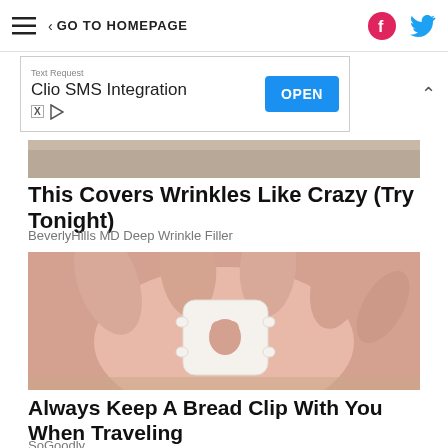≡  < GO TO HOMEPAGE
[Figure (screenshot): Advertisement banner for Text Request Clio SMS Integration with OPEN button]
[Figure (photo): Partial cropped photo showing grey/skin-toned background at top of article]
This Covers Wrinkles Like Crazy (Try Tonight)
BeverlyHills MD Deep Wrinkle Filler
[Figure (photo): Photo of a hand holding a small white plastic bread clip shaped like a truck/car with a hole in the center]
Always Keep A Bread Clip With You When Traveling
SoGoodly